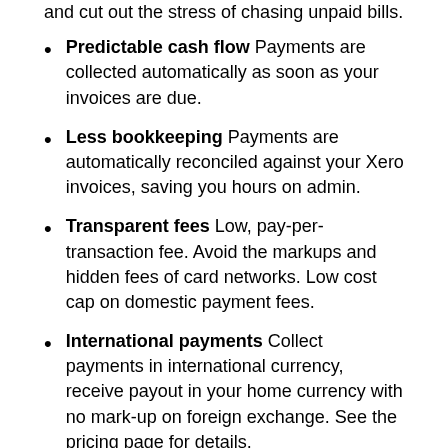and cut out the stress of chasing unpaid bills.
Predictable cash flow Payments are collected automatically as soon as your invoices are due.
Less bookkeeping Payments are automatically reconciled against your Xero invoices, saving you hours on admin.
Transparent fees Low, pay-per-transaction fee. Avoid the markups and hidden fees of card networks. Low cost cap on domestic payment fees.
International payments Collect payments in international currency, receive payout in your home currency with no mark-up on foreign exchange. See the pricing page for details.
Who is it for?
GoCardless is made for businesses that bill their customers on a recurring basis. It's ideal for collecting payment for both intermittent and repeating invoices as well as subscriptions.